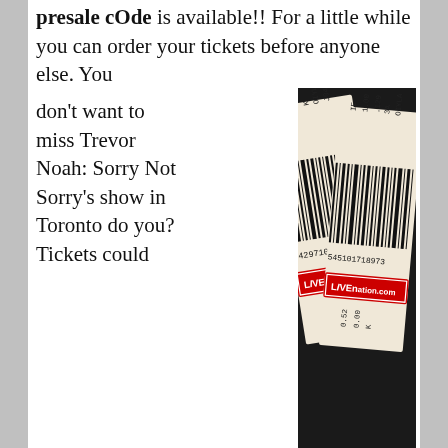presale cOde is available!! For a little while you can order your tickets before anyone else. You don't want to miss Trevor Noah: Sorry Not Sorry's show in Toronto do you? Tickets could sell fast when they go on sale: during the presale you can purchase your tickets before they are all gone! Here are the Trevor Noah: Sorry Not Sorry show details you need: Trevor Noah: Sorry Not Sorry
[Figure (photo): Two Live Nation event tickets with barcodes overlapping each other, showing text '54297107804' and '545101718973' and 'LIVEnation.com' branding in red and white.]